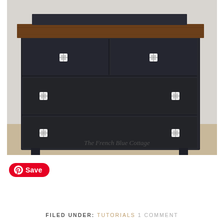[Figure (photo): A painted dark navy/charcoal dresser with a walnut stained wood top, featuring decorative square metal knobs on four drawers (two small top drawers and two large lower drawers), photographed against a white brick wall. Watermark reads 'The French Blue Cottage'.]
Save
FILED UNDER: TUTORIALS 1 COMMENT